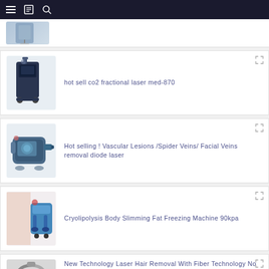Navigation bar with menu, bookmark, and search icons
[Figure (photo): Partial product image at top (cropped), white background]
hot sell co2 fractional laser med-870
[Figure (photo): CO2 fractional laser machine med-870, dark unit on wheels]
Hot selling ! Vascular Lesions /Spider Veins/ Facial Veins removal diode laser
[Figure (photo): Diode laser device for vascular lesion removal, compact blue/grey unit]
Cryolipolysis Body Slimming Fat Freezing Machine 90kpa
[Figure (photo): Cryolipolysis fat freezing machine with applicators, blue/white unit]
New Technology Laser Hair Removal With Fiber Technology No Consumable Parts Optical Laser